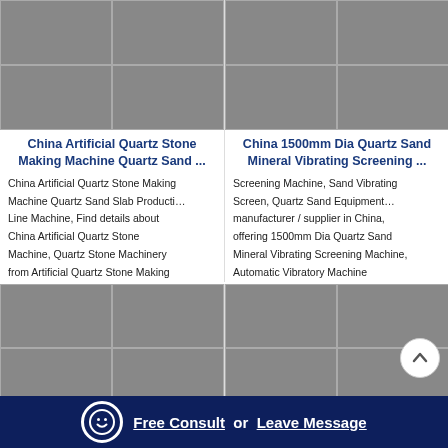[Figure (photo): Grid of 4 industrial quartz stone making machine photos]
[Figure (photo): Grid of 4 quartz sand mineral vibrating screening machine photos]
China Artificial Quartz Stone Making Machine Quartz Sand ...
China 1500mm Dia Quartz Sand Mineral Vibrating Screening ...
China Artificial Quartz Stone Making Machine Quartz Sand Slab Producti… Line Machine, Find details about China Artificial Quartz Stone Machine, Quartz Stone Machinery from Artificial Quartz Stone Making
Screening Machine, Sand Vibrating Screen, Quartz Sand Equipment… manufacturer / supplier in China, offering 1500mm Dia Quartz Sand Mineral Vibrating Screening Machine, Automatic Vibratory Machine
[Figure (photo): Grid of 4 industrial sand washing and processing machine photos]
[Figure (photo): Grid of 4 stone crushing plant photos]
Free Consult  or  Leave Message